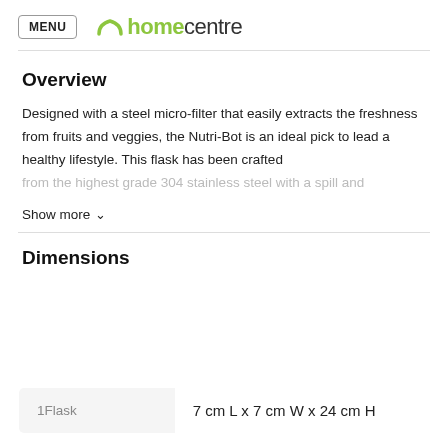MENU  homecentre
Overview
Designed with a steel micro-filter that easily extracts the freshness from fruits and veggies, the Nutri-Bot is an ideal pick to lead a healthy lifestyle. This flask has been crafted from the highest grade 304 stainless steel with a spill and
Show more
Dimensions
|  |  |
| --- | --- |
| 1Flask | 7 cm L x 7 cm W x 24 cm H |